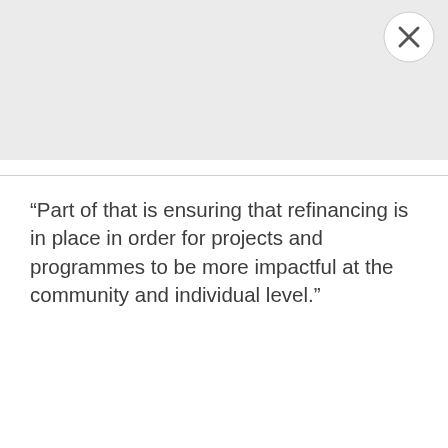[Figure (screenshot): Gray top area of a mobile article page with a circular close (X) button in the top-right corner]
“Part of that is ensuring that refinancing is in place in order for projects and programmes to be more impactful at the community and individual level.”
kimone.francis@gleanerjm.com
[Figure (other): Loading spinner (partial arc) in the middle of the page]
[Figure (screenshot): Black bottom navigation bar area of a mobile browser]